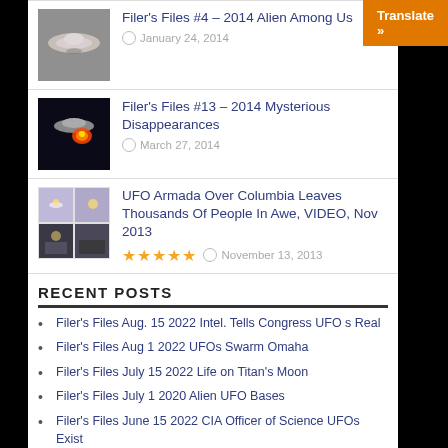[Figure (screenshot): Translate button overlay (orange background, white text)]
[Figure (photo): UFO disc-shaped object thumbnail for Filer's Files #4 post]
Filer's Files #4 – 2014 Alien Among Us
January 24, 2014
[Figure (photo): UFO with fire/glow thumbnail for Filer's Files #13 post]
Filer's Files #13 – 2014 Mysterious Disappearances
March 27, 2014
[Figure (photo): 4-grid thumbnail showing UFO lights and crowd photo for UFO Armada article]
UFO Armada Over Columbia Leaves Thousands Of People In Awe, VIDEO, Nov 2013
November 13, 2013
RECENT POSTS
Filer's Files Aug. 15 2022 Intel. Tells Congress UFO s Real
Filer's Files Aug 1 2022 UFOs Swarm Omaha
Filer's Files July 15 2022 Life on Titan's Moon
Filer's Files July 1 2020 Alien UFO Bases
Filer's Files June 15 2022 CIA Officer of Science UFOs Exist